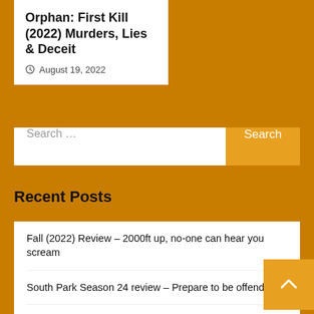Orphan: First Kill (2022) Murders, Lies & Deceit
August 19, 2022
Search ...
Recent Posts
Fall (2022) Review – 2000ft up, no-one can hear you scream
South Park Season 24 review – Prepare to be offended
Event Horizon – Exclusive 4K steelbook review
Midsomer Murder: Series 9, review
*Interview* Chad Collins talks about his new Sniper m